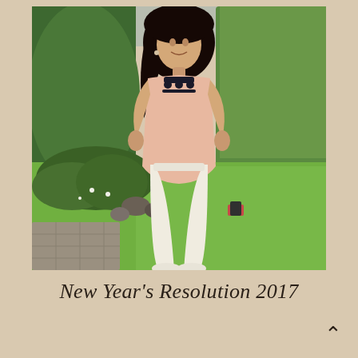[Figure (photo): A young woman wearing a pink embroidered sleeveless top and white cropped trousers with white sandals, standing in a garden with green hedges, trees, lawn, and a stone paved path.]
New Year's Resolution 2017